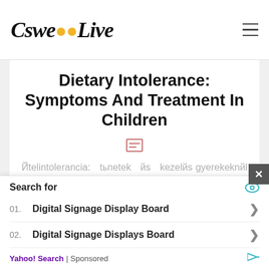EsweeLive
Dietary Intolerance: Symptoms And Treatment In Children
Йtelintolerancia: tьnetek йs kezelйs gyerekeknйl Снмкйk: йtelintoleranciahasf6j6sйtelallergia Szerzx: Kiss Vir6g 30, 2017 jъnius reviewer Dr. Hidvйgi Forrбs Edit: babaszoba.hu Childhood йtelintolerancia kivizsg6l6sa йs kezelйse large kцrьltekintйst igйnyel since
Search for
01. Digital Signage Display Board
02. Digital Signage Displays Board
Yahoo! Search | Sponsored